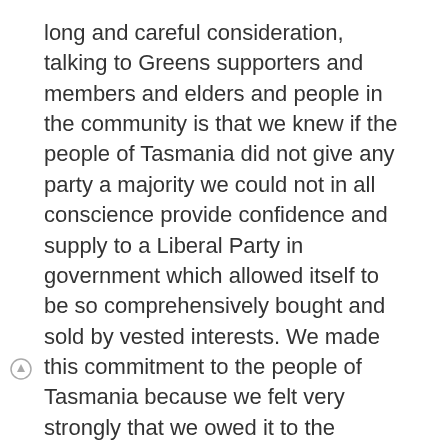long and careful consideration, talking to Greens supporters and members and elders and people in the community is that we knew if the people of Tasmania did not give any party a majority we could not in all conscience provide confidence and supply to a Liberal Party in government which allowed itself to be so comprehensively bought and sold by vested interests. We made this commitment to the people of Tasmania because we felt very strongly that we owed it to the people of Tasmania to be honest with them before election day what our intentions were. We could not have given confidence and supply to a party which had been corrupted by so much dark money and we made that very clear to the people of Tasmania.
We said on that day we would move no confidence on the first day at the first opportunity and that was because the stench, the smell of corruption, about the Liberal campaign was overpowering. Everywhere you went in